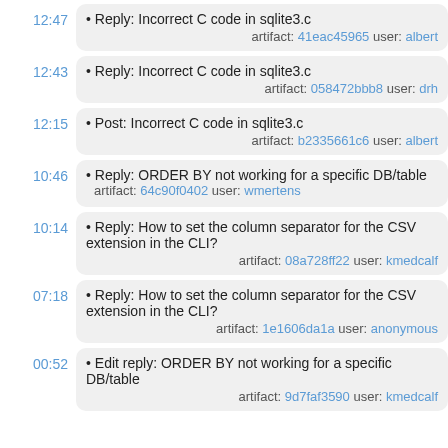12:47 • Reply: Incorrect C code in sqlite3.c artifact: 41eac45965 user: albert
12:43 • Reply: Incorrect C code in sqlite3.c artifact: 058472bbb8 user: drh
12:15 • Post: Incorrect C code in sqlite3.c artifact: b2335661c6 user: albert
10:46 • Reply: ORDER BY not working for a specific DB/table artifact: 64c90f0402 user: wmertens
10:14 • Reply: How to set the column separator for the CSV extension in the CLI? artifact: 08a728ff22 user: kmedcalf
07:18 • Reply: How to set the column separator for the CSV extension in the CLI? artifact: 1e1606da1a user: anonymous
00:52 • Edit reply: ORDER BY not working for a specific DB/table artifact: 9d7faf3590 user: kmedcalf